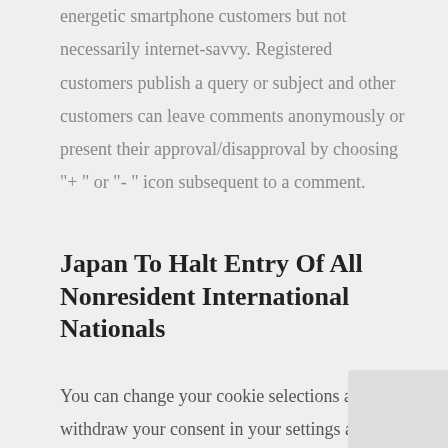energetic smartphone customers but not necessarily internet-savvy. Registered customers publish a query or subject and other customers can leave comments anonymously or present their approval/disapproval by choosing "+ " or "- " icon subsequent to a comment.
Japan To Halt Entry Of All Nonresident International Nationals
You can change your cookie selections and withdraw your consent in your settings at any time. The bilateral disputes flared following a 2018 ruling by